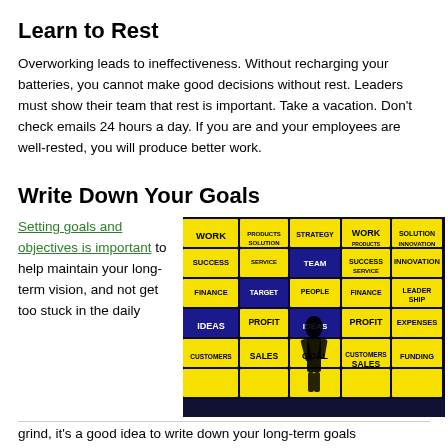Learn to Rest
Overworking leads to ineffectiveness. Without recharging your batteries, you cannot make good decisions without rest. Leaders must show their team that rest is important. Take a vacation. Don't check emails 24 hours a day. If you are and your employees are well-rested, you will produce better work.
Write Down Your Goals
Setting goals and objectives is important to help maintain your long-term vision, and not get too stuck in the daily
[Figure (photo): A person silhouetted against a wall of yellow illuminated panels with business words such as WORK, SUCCESS, IDEAS, PROFIT, SALES, GOAL, SERVICE, FINANCE, STRATEGY, INNOVATION, LEADERSHIP, EXPENSES, FUNDING, SOLUTION, PRODUCTS, etc.]
grind, it's a good idea to write down your long-term goals